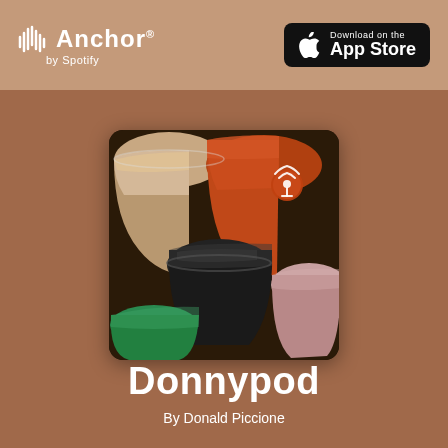[Figure (logo): Anchor by Spotify logo in white on tan header bar]
[Figure (logo): Download on the App Store button with Apple logo on black rounded rectangle background]
[Figure (photo): Colorful coffee capsules/pods arranged together — black, orange, beige, green — closeup overhead view with a small anchor/podcast icon in the upper right corner of the image]
Donnypod
By Donald Piccione